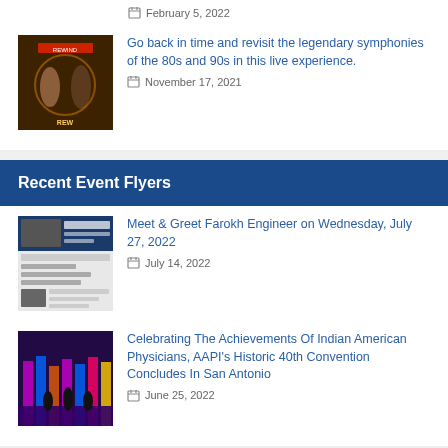February 5, 2022
[Figure (photo): Small thumbnail image of a document with a seal]
Go back in time and revisit the legendary symphonies of the 80s and 90s in this live experience.
November 17, 2021
Recent Event Flyers
[Figure (photo): Flyer thumbnail for Meet & Greet Farokh Engineer event]
Meet & Greet Farokh Engineer on Wednesday, July 27, 2022
July 14, 2022
[Figure (photo): Event photo with colorful stage lighting and performers]
Celebrating The Achievements Of Indian American Physicians, AAPI's Historic 40th Convention Concludes In San Antonio
June 25, 2022